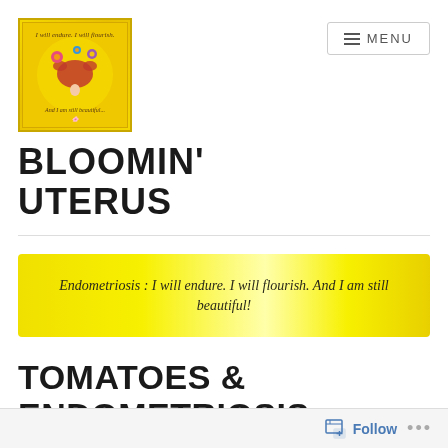[Figure (logo): Bloomin' Uterus logo — golden background with illustrated uterus and flowers, text 'I will endure. I will flourish. And I am still beautiful!']
BLOOMIN' UTERUS
[Figure (infographic): Yellow gradient banner with italic text: Endometriosis : I will endure. I will flourish. And I am still beautiful!]
TOMATOES & ENDOMETRIOSIS
OCTOBER 26, 2017 | BLOOMIN' UTERUS
Follow